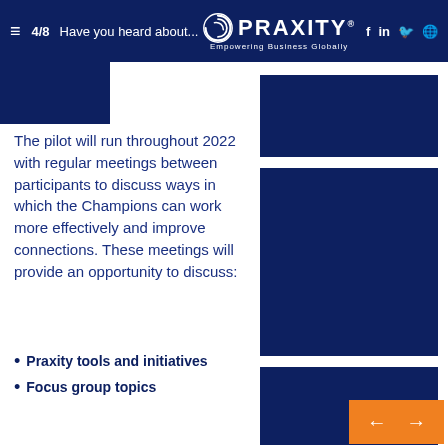≡  4/8  Have you heard about  PRAXITY® Empowering Business Globally  f  in  🐦  🌐
[Figure (photo): Dark navy blue image placeholder (top right)]
[Figure (photo): Dark navy blue image placeholder (middle right)]
The pilot will run throughout 2022 with regular meetings between participants to discuss ways in which the Champions can work more effectively and improve connections. These meetings will provide an opportunity to discuss:
Praxity tools and initiatives
Focus group topics
[Figure (photo): Dark navy blue image placeholder (bottom right)]